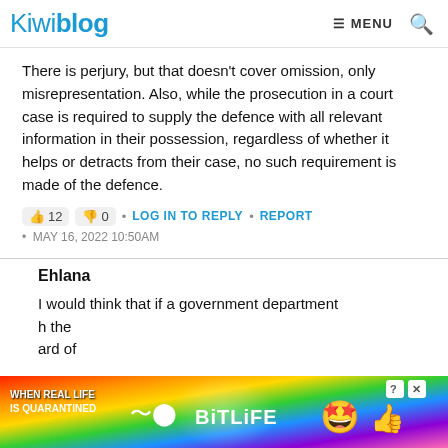Kiwiblog  ≡ MENU  🔍
There is perjury, but that doesn't cover omission, only misrepresentation. Also, while the prosecution in a court case is required to supply the defence with all relevant information in their possession, regardless of whether it helps or detracts from their case, no such requirement is made of the defence.
👍 12  👎 0  •  LOG IN TO REPLY  •  REPORT
•  MAY 16, 2022 10:50AM
Ehlana
I would think that if a government department ... h the ... ard of
[Figure (advertisement): BitLife mobile game advertisement with rainbow gradient background, 'WHEN REAL LIFE IS QUARANTINED' text, BitLife logo, emoji mascot, and close/info buttons]